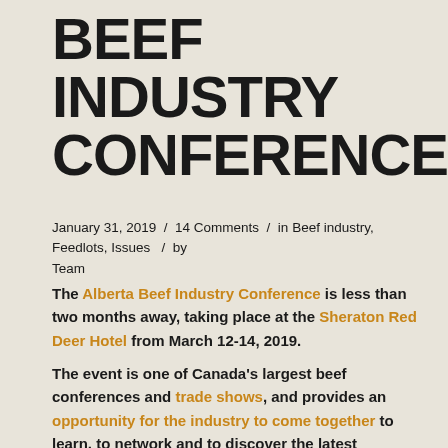BEEF INDUSTRY CONFERENCE
January 31, 2019 / 14 Comments / in Beef industry, Feedlots, Issues / by Team
The Alberta Beef Industry Conference is less than two months away, taking place at the Sheraton Red Deer Hotel from March 12-14, 2019.
The event is one of Canada’s largest beef conferences and trade shows, and provides an opportunity for the industry to come together to learn, to network and to discover the latest products and innovations.